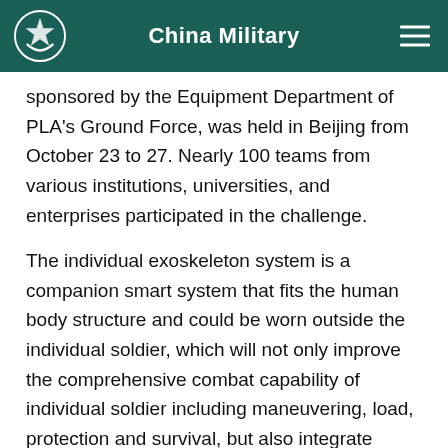China Military
sponsored by the Equipment Department of PLA's Ground Force, was held in Beijing from October 23 to 27. Nearly 100 teams from various institutions, universities, and enterprises participated in the challenge.
The individual exoskeleton system is a companion smart system that fits the human body structure and could be worn outside the individual soldier, which will not only improve the comprehensive combat capability of individual soldier including maneuvering, load, protection and survival, but also integrate many kinds of individual weapons in the fields of reconnaissance, communication, firepower and so on. The individual exoskeleton system has such features as comfortable wearing, great follow-up movement and smart self-adaptation, representing a new